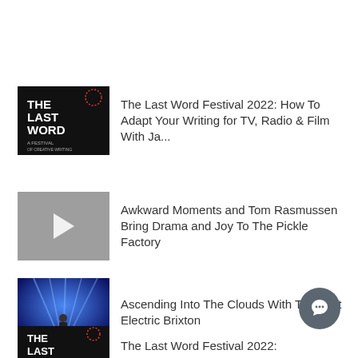[Figure (illustration): The Last Word Festival 2022 logo thumbnail - black background with stylized text]
The Last Word Festival 2022: How To Adapt Your Writing for TV, Radio & Film With Ja...
[Figure (screenshot): Video thumbnail with grey background and white play button triangle]
Awkward Moments and Tom Rasmussen Bring Drama and Joy To The Pickle Factory
[Figure (photo): Concert photo with blue laser lights at Electric Brixton]
Ascending Into The Clouds With Tirzah At Electric Brixton
[Figure (illustration): The Last Word Festival 2022 logo thumbnail - partially visible at bottom]
The Last Word Festival 2022: